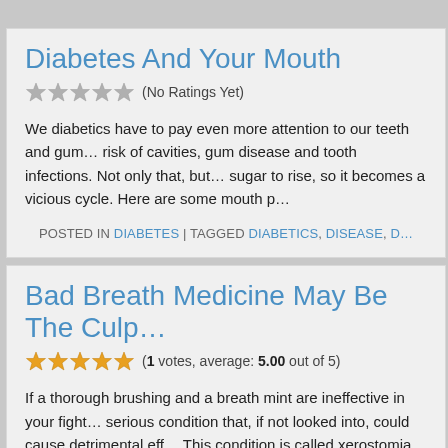Diabetes And Your Mouth
(No Ratings Yet)
We diabetics have to pay even more attention to our teeth and gum… risk of cavities, gum disease and tooth infections. Not only that, but… sugar to rise, so it becomes a vicious cycle. Here are some mouth p…
POSTED IN DIABETES | TAGGED DIABETICS, DISEASE, D…
Bad Breath Medicine May Be The Culp…
(1 votes, average: 5.00 out of 5)
If a thorough brushing and a breath mint are ineffective in your fight… serious condition that, if not looked into, could cause detrimental eff… This condition is called xerostomia. More commonly known as dry m… common […]